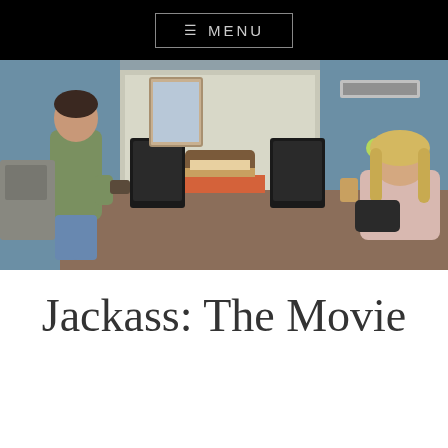≡ MENU
[Figure (photo): Office scene with two women: one standing wearing a green jacket holding something, and one seated at a desk with computers and clutter around them. Blue office cubicle walls and partition visible in background.]
Jackass: The Movie